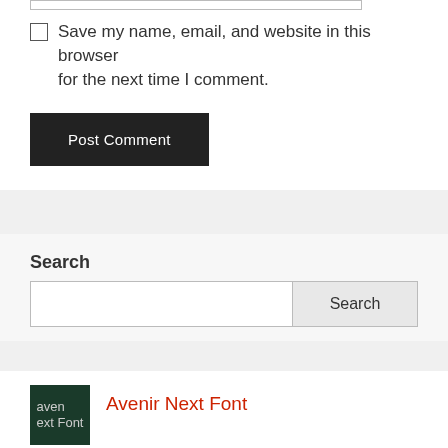Save my name, email, and website in this browser for the next time I comment.
Post Comment
Search
Search
[Figure (illustration): Thumbnail image for Avenir Next Font article, dark green background with text 'aven next Font']
Avenir Next Font